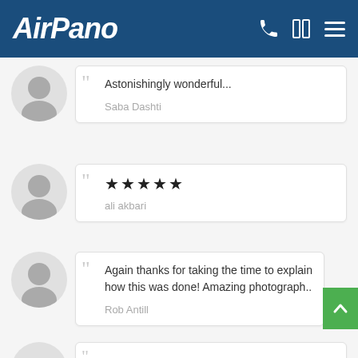AirPano
Astonishingly wonderful...
Saba Dashti
★★★★★
ali akbari
Again thanks for taking the time to explain how this was done! Amazing photograph..
Rob Antill